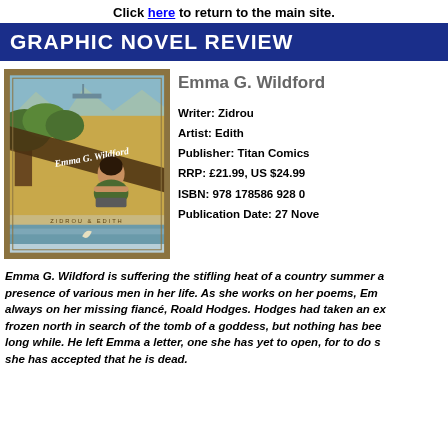Click here to return to the main site.
GRAPHIC NOVEL REVIEW
[Figure (illustration): Book cover of Emma G. Wildford showing a vintage art deco style illustration of a woman with dark hair sitting outdoors with a typewriter, surrounded by trees. A diagonal banner across the cover reads 'Emma G. Wildford' in cursive script. At the bottom it reads 'ZIDROU & EDITH'. Mountains and a ship are visible in the background at top.]
Emma G. Wildford
Writer: Zidrou
Artist: Edith
Publisher: Titan Comics
RRP: £21.99, US $24.99
ISBN: 978 178586 928 0
Publication Date: 27 November
Emma G. Wildford is suffering the stifling heat of a country summer and the presence of various men in her life. As she works on her poems, Emma's mind is always on her missing fiancé, Roald Hodges. Hodges had taken an expedition to the frozen north in search of the tomb of a goddess, but nothing has been heard for a long while. He left Emma a letter, one she has yet to open, for to do so means she has accepted that he is dead.